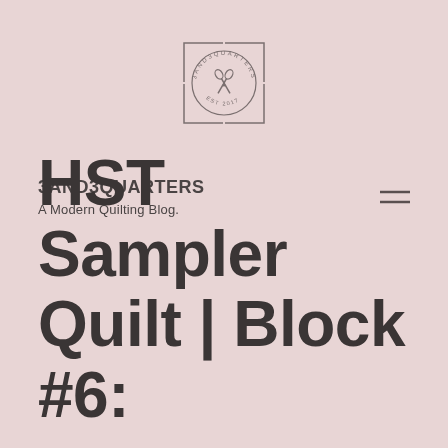[Figure (logo): 3AND3QUARTERS logo: circular badge with scissors graphic inside a square border, text reading '3AND3QUARTERS' and 'EST 2017' around the circle]
3AND3QUARTERS
A Modern Quilting Blog.
[Figure (other): Hamburger/menu icon consisting of two horizontal parallel lines]
HST Sampler Quilt | Block #6: